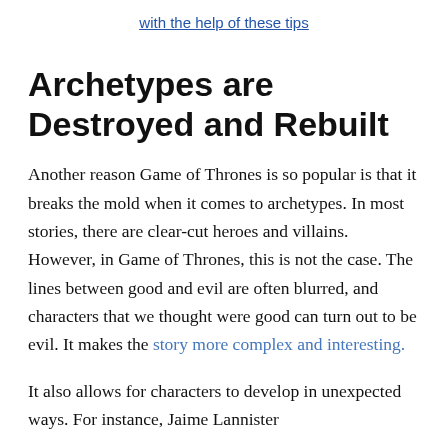with the help of these tips
Archetypes are Destroyed and Rebuilt
Another reason Game of Thrones is so popular is that it breaks the mold when it comes to archetypes. In most stories, there are clear-cut heroes and villains. However, in Game of Thrones, this is not the case. The lines between good and evil are often blurred, and characters that we thought were good can turn out to be evil. It makes the story more complex and interesting.
It also allows for characters to develop in unexpected ways. For instance, Jaime Lannister